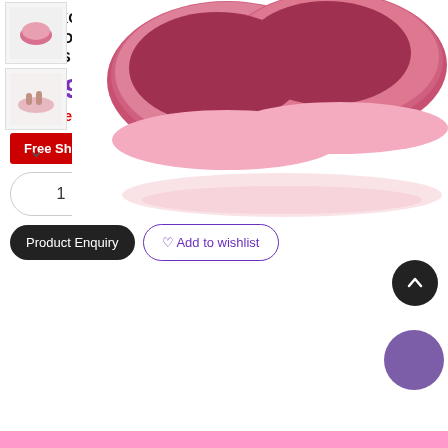[Figure (photo): Pink pebble-shaped digital bathroom scale product images: thumbnail of scale unit, thumbnail of feet on scale, chevron/down arrow, and large main product image showing two pink oval scale platforms from above.]
2X 180KG DIGITAL FITNESS WEIGHT BATHROOM GYM BODY LCD ELECTRONIC SCALES ROSE
$68.99  $114.99
You Save: $46.00 (40%)
Free Shipping  IN STOCK
1  Add To Cart  BUY NOW
Product Enquiry  ♡ Add to wishlist